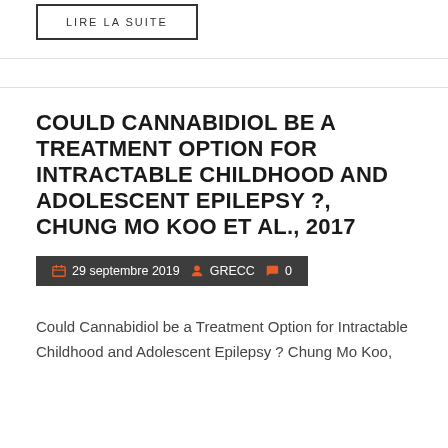LIRE LA SUITE
COULD CANNABIDIOL BE A TREATMENT OPTION FOR INTRACTABLE CHILDHOOD AND ADOLESCENT EPILEPSY ?, CHUNG MO KOO ET AL., 2017
29 septembre 2019   GRECC   0
Could Cannabidiol be a Treatment Option for Intractable Childhood and Adolescent Epilepsy ? Chung Mo Koo,